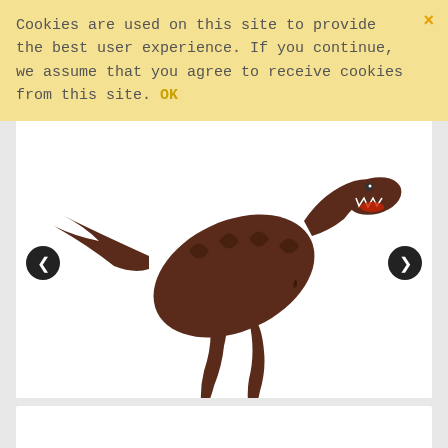Cookies are used on this site to provide the best user experience. If you continue, we assume that you agree to receive cookies from this site. OK
[Figure (photo): A dark brown/maroon T-Rex dinosaur toy figure shown walking, with open mouth showing teeth, photographed against a white background. Navigation arrows (< >) visible on left and right sides.]
Switch Adapted Walking T-Rex | Accessibility Device | Disability Adapted | People with
$59.95